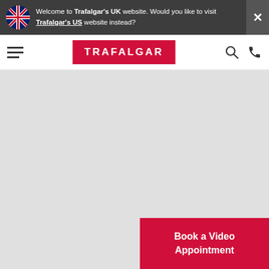Welcome to Trafalgar's UK website. Would you like to visit Trafalgar's US website instead?
[Figure (logo): Trafalgar travel company logo with red background and white text]
[Figure (photo): Large grey placeholder image area for hero/banner photo]
Book a Video Appointment